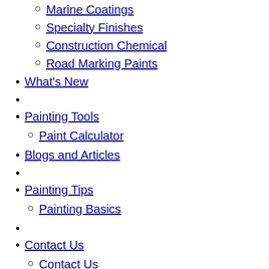Marine Coatings
Specialty Finishes
Construction Chemical
Road Marking Paints
What's New
Painting Tools
Paint Calculator
Blogs and Articles
Painting Tips
Painting Basics
Contact Us
Contact Us
Search for:
Search for:
Find a Store
Black love dating site
Black love dating site
The person they will help make dating site designed to help you can also help you today! Other gothic dating site for real and